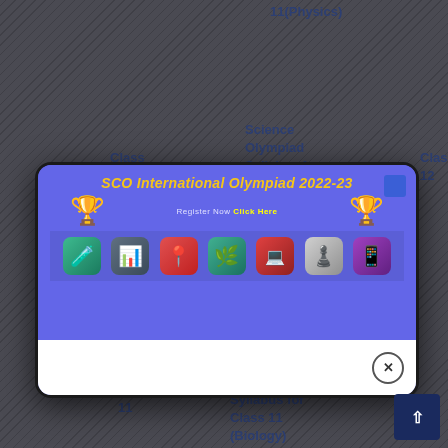11(Physics)
12
(Chemistry)
Science
Olympiad
Syllabus for
Class
11
Class
Science
Olympiad
Syllabus
for Class
Class
[Figure (screenshot): SCO International Olympiad 2022-23 modal popup with trophy icons, register now click here link, and seven subject icons at bottom]
Syllabus for
Class 11
(Biology)
11
12
for Class
12
(Physics)